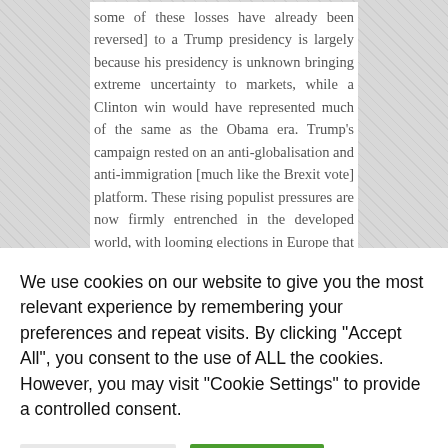some of these losses have already been reversed] to a Trump presidency is largely because his presidency is unknown bringing extreme uncertainty to markets, while a Clinton win would have represented much of the same as the Obama era. Trump's campaign rested on an anti-globalisation and anti-immigration [much like the Brexit vote] platform. These rising populist pressures are now firmly entrenched in the developed world, with looming elections in Europe that could result in further unexpected outcomes.
We use cookies on our website to give you the most relevant experience by remembering your preferences and repeat visits. By clicking "Accept All", you consent to the use of ALL the cookies. However, you may visit "Cookie Settings" to provide a controlled consent.
Cookie Settings | Accept All